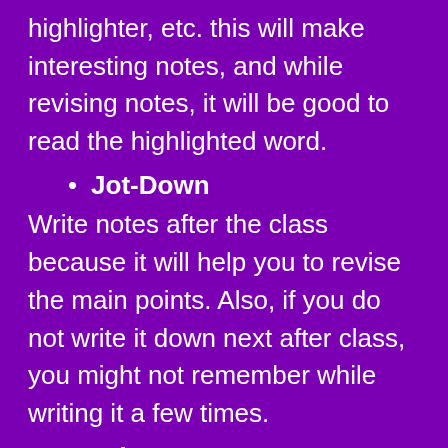highlighter, etc. this will make interesting notes, and while revising notes, it will be good to read the highlighted word.
Jot-Down
Write notes after the class because it will help you to revise the main points. Also, if you do not write it down next after class, you might not remember while writing it a few times.
Take Rest
Take total time sleep is a must for students because after taking proper sleep, their minds will relax and not feel